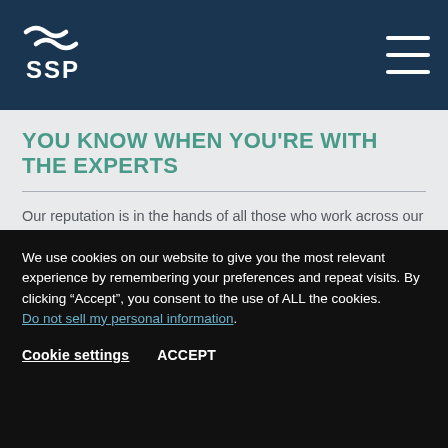[Figure (logo): SSP logo with two stylized wave marks above letters SSP in white on dark navy background]
YOU KNOW WHEN YOU'RE WITH THE EXPERTS
Our reputation is in the hands of all those who work across our organisation. This means our colleagues need to demonstrate knowledge, passion and the
We use cookies on our website to give you the most relevant experience by remembering your preferences and repeat visits. By clicking “Accept”, you consent to the use of ALL the cookies. Do not sell my personal information.
Cookie settings   ACCEPT